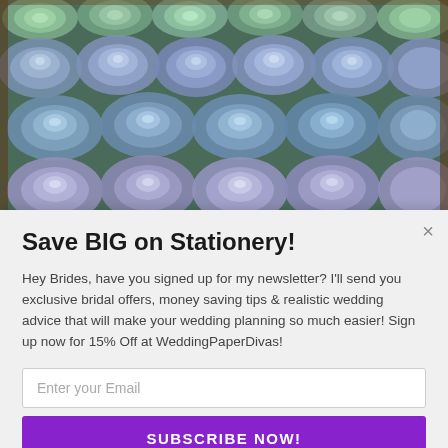[Figure (photo): Overhead photo of a wooden tray densely filled with blue-green and purple succulent plants arranged in rows.]
Save BIG on Stationery!
Hey Brides, have you signed up for my newsletter? I'll send you exclusive bridal offers, money saving tips & realistic wedding advice that will make your wedding planning so much easier! Sign up now for 15% Off at WeddingPaperDivas!
Enter your Email
SUBSCRIBE NOW!